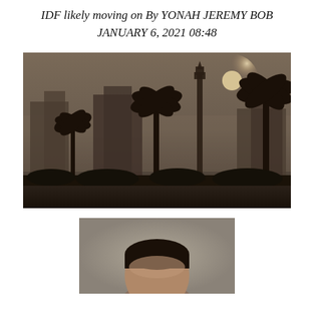IDF likely moving on By YONAH JEREMY BOB
JANUARY 6, 2021 08:48
[Figure (photo): A moody, hazy cityscape at dusk or dawn with palm trees and a mosque minaret silhouetted against a foggy grey-brown sky with a pale sun visible in the upper right. Buildings are visible in the background through the haze.]
[Figure (photo): Partial portrait photo showing the top of a person's head with dark hair, cropped at the forehead level, against a neutral grey background.]